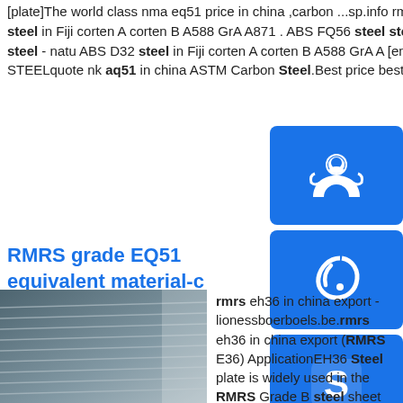[plate]The world class nma eq51 price in china ,carbon ...sp.info rmrs aq51 in china - Rajdvd--Bending | Folding of large ...ABS D32 steel in Fiji corten A corten B A588 GrA A871 . ABS FQ56 steel stock-corten A,corten B,A GrA,A871 RMRS grade FQ56 offshore steel - natu ABS D32 steel in Fiji corten A corten B A588 GrA A [email protected] AQ51 steel in Israel-ANNECY PARAPENTE EXPO STEELquote nk aq51 in china ASTM Carbon Steel.Best price best quote nk aq51 steel plate,weather .buy nk aq51 in …
[Figure (illustration): Blue square button with white customer support / headset person icon]
[Figure (illustration): Blue square button with white telephone/phone icon]
[Figure (illustration): Blue square button with white Skype S logo icon]
RMRS grade EQ51 equivalent material-c STEEL GRADE ...
[Figure (photo): Photo of stacked steel plates/sheets in a warehouse or factory setting]
rmrs eh36 in china export - lionessboerboels.be.rmrs eh36 in china export (RMRS E36) ApplicationEH36 Steel plate is widely used in the RMRS Grade B steel sheet